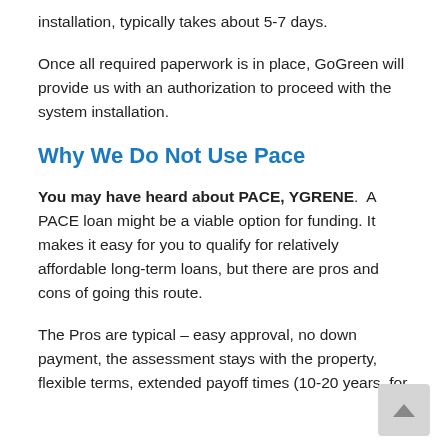installation, typically takes about 5-7 days.
Once all required paperwork is in place, GoGreen will provide us with an authorization to proceed with the system installation.
Why We Do Not Use Pace
You may have heard about PACE, YGRENE.  A PACE loan might be a viable option for funding. It makes it easy for you to qualify for relatively affordable long-term loans, but there are pros and cons of going this route.
The Pros are typical – easy approval, no down payment, the assessment stays with the property, flexible terms, extended payoff times (10-20 years, for